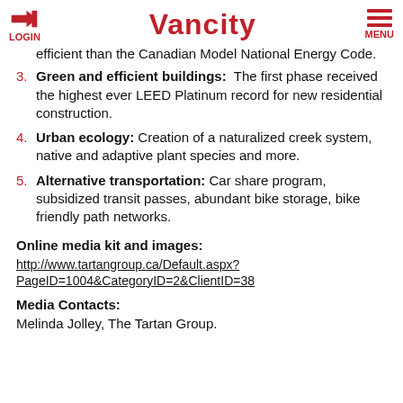LOGIN | Vancity | MENU
efficient than the Canadian Model National Energy Code.
3. Green and efficient buildings:  The first phase received the highest ever LEED Platinum record for new residential construction.
4. Urban ecology: Creation of a naturalized creek system, native and adaptive plant species and more.
5. Alternative transportation: Car share program, subsidized transit passes, abundant bike storage, bike friendly path networks.
Online media kit and images:
http://www.tartangroup.ca/Default.aspx?PageID=1004&CategoryID=2&ClientID=38
Media Contacts:
Melinda Jolley, The Tartan Group.